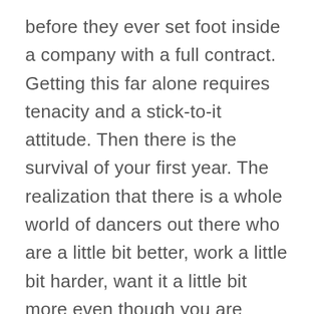before they ever set foot inside a company with a full contract. Getting this far alone requires tenacity and a stick-to-it attitude. Then there is the survival of your first year. The realization that there is a whole world of dancers out there who are a little bit better, work a little bit harder, want it a little bit more even though you are giving everything just to be there. This is a very humbling experience. It is also one that makes us realize that we have to earn our place and our roles every day with continued focus, dedication, and drive. It's what makes the practice of ballet at once so rewarding and so daunting at the same time. It is also where I